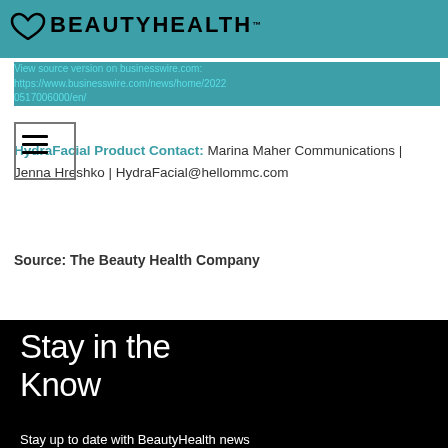BEAUTYHEALTH
View source version on businesswire.com: https://www.businesswire.com/news/home/20220517006000/en/
HydraFacial Product Contact: Marina Maher Communications | Jenna Hreshko | HydraFacial@hellommc.com
Source: The Beauty Health Company
Stay in the Know
Stay up to date with BeautyHealth news